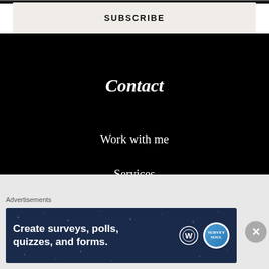SUBSCRIBE
Contact
Work with me
Services
Powered by WordPress.com
Advertisements
[Figure (screenshot): Advertisement banner: dark navy background with white bold text 'Create surveys, polls, quizzes, and forms.' with WordPress logo and a circular survey badge icon on right side.]